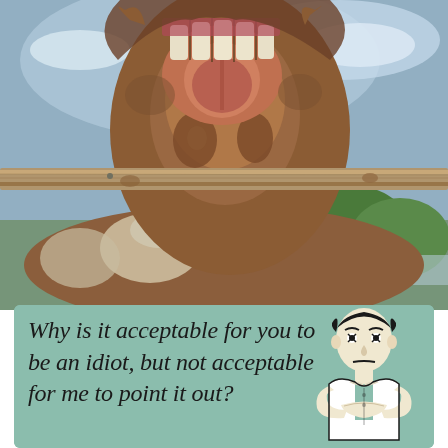[Figure (photo): A horse with its mouth wide open showing large teeth, photographed from below looking up. The horse's face fills the upper portion including open mouth, nostrils visible against a light blue sky. Lower portion shows the chest/body of a brown and white horse with light mane, standing near trees and a green landscape. A wooden fence rail is visible behind the horse's neck.]
[Figure (illustration): A vintage-style comic illustration of a young boy with arms crossed looking annoyed or indignant, positioned on the right side of a teal/mint green meme card. The card contains the text: 'Why is it acceptable for you to be an idiot, but not acceptable for me to point it out?']
Why is it acceptable for you to be an idiot, but not acceptable for me to point it out?